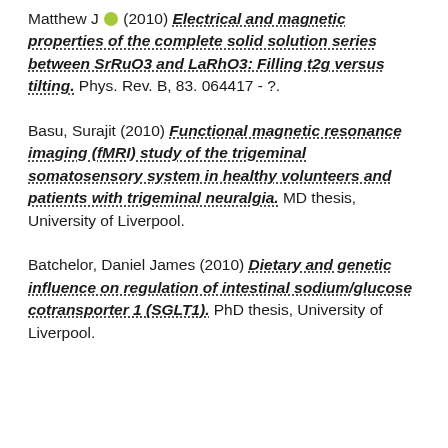Matthew J [orcid] (2010) Electrical and magnetic properties of the complete solid solution series between SrRuO3 and LaRhO3: Filling t2g versus tilting. Phys. Rev. B, 83. 064417 - ?.
Basu, Surajit (2010) Functional magnetic resonance imaging (fMRI) study of the trigeminal somatosensory system in healthy volunteers and patients with trigeminal neuralgia. MD thesis, University of Liverpool.
Batchelor, Daniel James (2010) Dietary and genetic influence on regulation of intestinal sodium/glucose cotransporter 1 (SGLT1). PhD thesis, University of Liverpool.